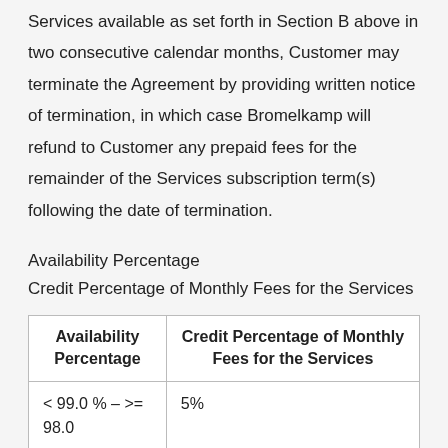Services available as set forth in Section B above in two consecutive calendar months, Customer may terminate the Agreement by providing written notice of termination, in which case Bromelkamp will refund to Customer any prepaid fees for the remainder of the Services subscription term(s) following the date of termination.
Availability Percentage
Credit Percentage of Monthly Fees for the Services
| Availability Percentage | Credit Percentage of Monthly Fees for the Services |
| --- | --- |
| < 99.0 % – >= 98.0 | 5% |